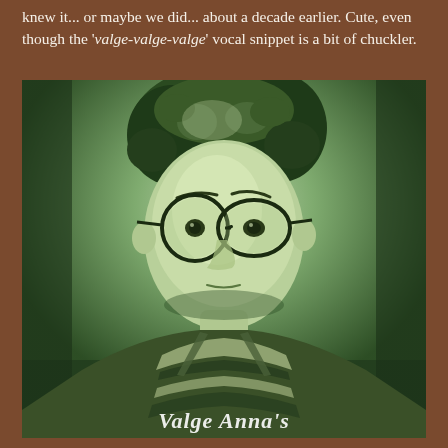knew it... or maybe we did... about a decade earlier. Cute, even though the 'valge-valge-valge' vocal snippet is a bit of chuckler.
[Figure (photo): A green-tinted vintage black-and-white portrait photograph of a young person with curly hair and round oval glasses, wearing a striped top. At the bottom of the image, partially visible italic text in white.]